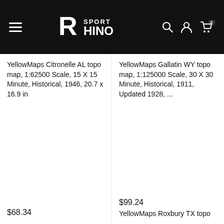[Figure (screenshot): Sport Rhino website header with hamburger menu, logo, search, user, and cart icons on black background]
YellowMaps Citronelle AL topo map, 1:62500 Scale, 15 X 15 Minute, Historical, 1946, 20.7 x 16.9 in
YellowMaps Gallatin WY topo map, 1:125000 Scale, 30 X 30 Minute, Historical, 1911, Updated 1928, ...
$68.34
$99.24
YellowMaps Roxbury TX topo